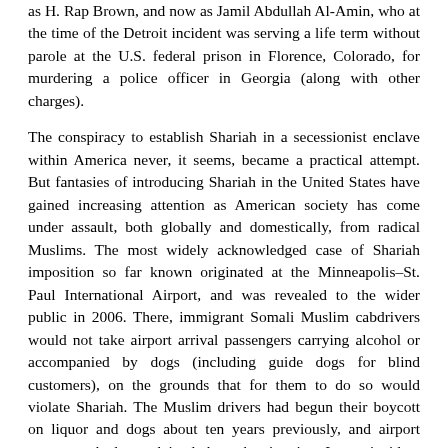as H. Rap Brown, and now as Jamil Abdullah Al-Amin, who at the time of the Detroit incident was serving a life term without parole at the U.S. federal prison in Florence, Colorado, for murdering a police officer in Georgia (along with other charges).
The conspiracy to establish Shariah in a secessionist enclave within America never, it seems, became a practical attempt. But fantasies of introducing Shariah in the United States have gained increasing attention as American society has come under assault, both globally and domestically, from radical Muslims. The most widely acknowledged case of Shariah imposition so far known originated at the Minneapolis–St. Paul International Airport, and was revealed to the wider public in 2006. There, immigrant Somali Muslim cabdrivers would not take airport arrival passengers carrying alcohol or accompanied by dogs (including guide dogs for blind customers), on the grounds that for them to do so would violate Shariah. The Muslim drivers had begun their boycott on liquor and dogs about ten years previously, and airport customers had complained about the situation. In one incident sixteen drivers successively declined to carry "objectionable" passengers. The Somali cabdrivers applied to the Metropolitan Airports Commission for authorization to refuse service on religious grounds without being sent to the back of the airport taxi line and losing opportunities to make money.
The Metropolitan Airports Commission rejected the petition, but